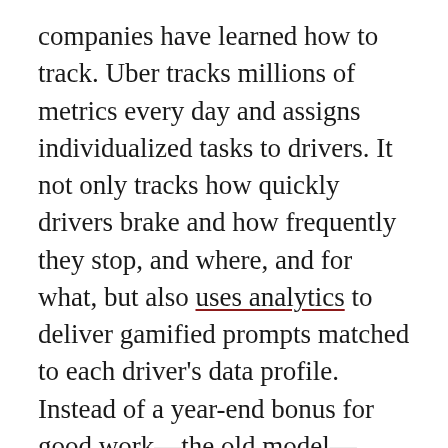companies have learned how to track. Uber tracks millions of metrics every day and assigns individualized tasks to drivers. It not only tracks how quickly drivers brake and how frequently they stop, and where, and for what, but also uses analytics to deliver gamified prompts matched to each driver's data profile. Instead of a year-end bonus for good work—the old model—drivers are paid through a complex blend of bonuses and demerits, constantly pinged with reminders of goals, pushed and prodded and profiled to tweak how little they make and how much Uber collects.